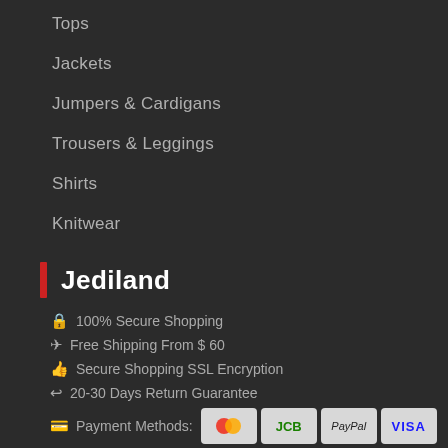Tops
Jackets
Jumpers & Cardigans
Trousers & Leggings
Shirts
Knitwear
Jediland
🔒 100% Secure Shopping
✈ Free Shipping From $ 60
👍 Secure Shopping SSL Encryption
↩ 20-30 Days Return Guarantee
💳 Payment Methods: Mastercard JCB PayPal VISA
[Figure (other): Social media icons: Facebook, Twitter, Pinterest, Google+, YouTube]